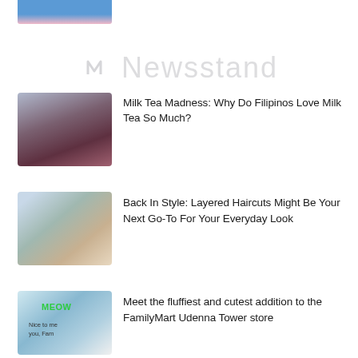[Figure (photo): Partially visible photo cropped at top of page, showing blue and pink tones]
[Figure (logo): Newsstand watermark logo in light gray]
[Figure (photo): Woman drinking milk tea through a straw]
Milk Tea Madness: Why Do Filipinos Love Milk Tea So Much?
[Figure (photo): Young woman with layered haircut smiling outdoors]
Back In Style: Layered Haircuts Might Be Your Next Go-To For Your Everyday Look
[Figure (photo): FamilyMart Meow cat store photo with green Meow text]
Meet the fluffiest and cutest addition to the FamilyMart Udenna Tower store